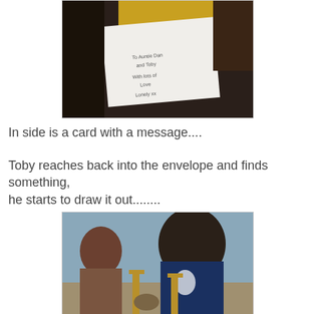[Figure (photo): A child holding open a handmade card that reads: To Auntie Dan and Toby with lots of Love Lonely xx]
In side is a card with a message....
Toby reaches back into the envelope and finds something, he starts to draw it out........
[Figure (photo): A boy with dark hair looking down, seated, with wooden chairs visible in the background against a blue wall]